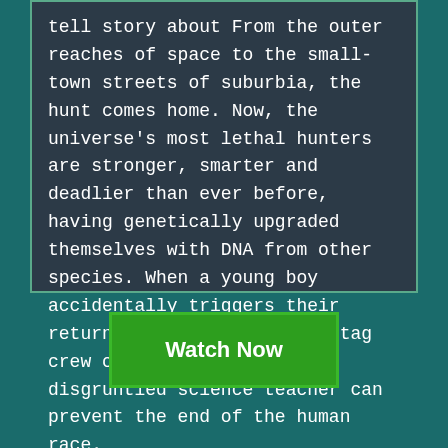tell story about From the outer reaches of space to the small-town streets of suburbia, the hunt comes home. Now, the universe's most lethal hunters are stronger, smarter and deadlier than ever before, having genetically upgraded themselves with DNA from other species. When a young boy accidentally triggers their return to Earth, only a ragtag crew of ex-soldiers and a disgruntled science teacher can prevent the end of the human race.
Watch Now